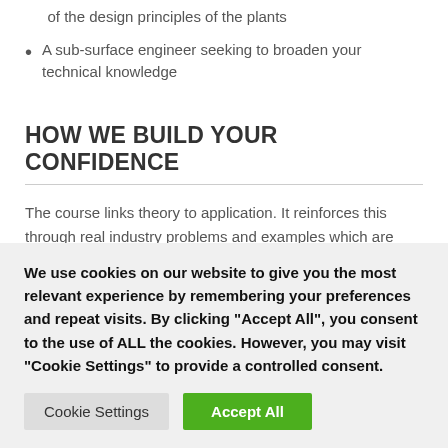of the design principles of the plants
A sub-surface engineer seeking to broaden your technical knowledge
HOW WE BUILD YOUR CONFIDENCE
The course links theory to application. It reinforces this through real industry problems and examples which are solved by the participants as part of the sessions.
The course is highly interactive and participants are encouraged to
We use cookies on our website to give you the most relevant experience by remembering your preferences and repeat visits. By clicking "Accept All", you consent to the use of ALL the cookies. However, you may visit "Cookie Settings" to provide a controlled consent.